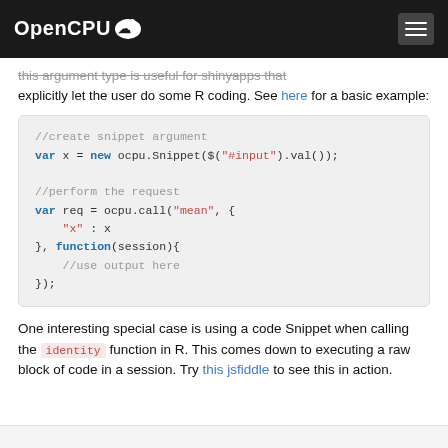OpenCPU
this argument type is useful for shinyapps that explicitly let the user do some R coding. See here for a basic example:
//create snippet argument
var x = new ocpu.Snippet($("#input").val());

//perform the request
var req = ocpu.call("mean", {
    "x" : x
}, function(session){
    //use output here
});
One interesting special case is using a code Snippet when calling the identity function in R. This comes down to executing a raw block of code in a session. Try this jsfiddle to see this in action.